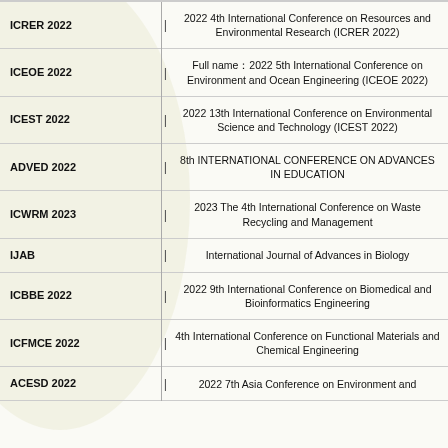| Abbr. | Title |
| --- | --- |
| ICRER 2022 | 2022 4th International Conference on Resources and Environmental Research (ICRER 2022) |
| ICEOE 2022 | Full name：2022 5th International Conference on Environment and Ocean Engineering (ICEOE 2022) |
| ICEST 2022 | 2022 13th International Conference on Environmental Science and Technology (ICEST 2022) |
| ADVED 2022 | 8th INTERNATIONAL CONFERENCE ON ADVANCES IN EDUCATION |
| ICWRM 2023 | 2023 The 4th International Conference on Waste Recycling and Management |
| IJAB | International Journal of Advances in Biology |
| ICBBE 2022 | 2022 9th International Conference on Biomedical and Bioinformatics Engineering |
| ICFMCE 2022 | 4th International Conference on Functional Materials and Chemical Engineering |
| ACESD 2022 | 2022 7th Asia Conference on Environment and |